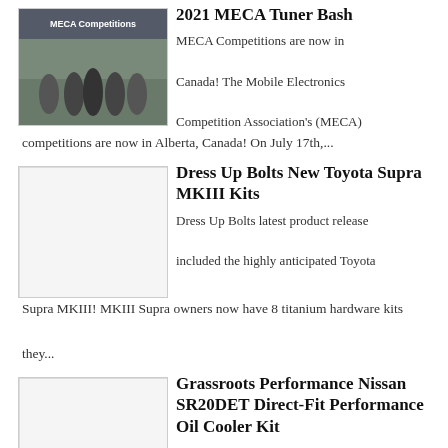[Figure (photo): Group photo of people standing in front of a MECA Competitions banner outdoors]
2021 MECA Tuner Bash
MECA Competitions are now in Canada! The Mobile Electronics Competition Association's (MECA) competitions are now in Alberta, Canada! On July 17th,...
[Figure (photo): Blank/placeholder image for Dress Up Bolts article]
Dress Up Bolts New Toyota Supra MKIII Kits
Dress Up Bolts latest product release included the highly anticipated Toyota Supra MKIII! MKIII Supra owners now have 8 titanium hardware kits they...
[Figure (photo): Blank/placeholder image for Grassroots Performance article]
Grassroots Performance Nissan SR20DET Direct-Fit Performance Oil Cooler Kit
This kit will enhance the oil life and lubrication of your Nissan engine. The oil block plate adapter for